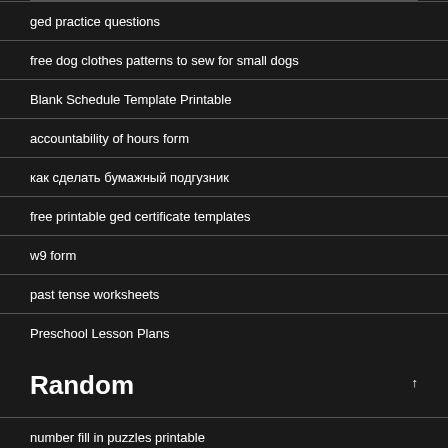ged practice questions
free dog clothes patterns to sew for small dogs
Blank Schedule Template Printable
accountability of hours form
как сделать бумажный подгузник
free printable ged certificate templates
w9 form
past tense worksheets
Preschool Lesson Plans
Random
number fill in puzzles printable